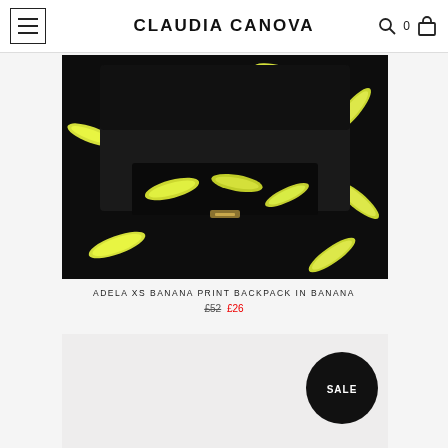CLAUDIA CANOVA
[Figure (photo): Adela XS Banana Print Backpack product photo showing black backpack with yellow banana print pattern and black leather flap]
ADELA XS BANANA PRINT BACKPACK IN BANANA
£52 £26
[Figure (photo): Second product image with SALE badge overlay, light grey/beige background, partially visible]